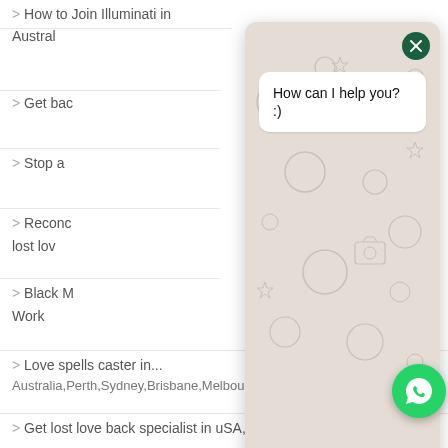> How to join Illuminati in Australia
> Get back...
> Stop a...
> Reconciliation lost love...
> Black M... Work
> Love spells caster in... Australia,Perth,Sydney,Brisbane,Melbourne,D... Albury
> Get lost love back specialist in uSA, uk,
[Figure (screenshot): WhatsApp chat widget overlay showing 'How can I help you? :)' message bubble, input field, send button (green arrow), and WhatsApp floating button. Background has decorative WhatsApp doodle pattern on beige.]